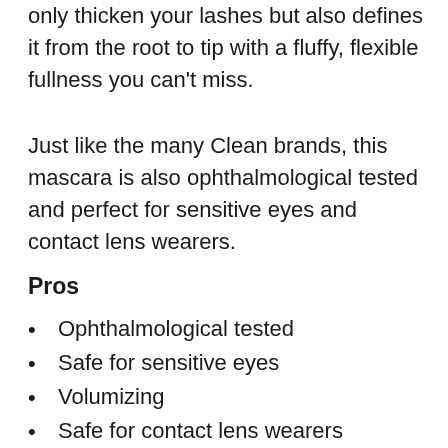only thicken your lashes but also defines it from the root to tip with a fluffy, flexible fullness you can't miss.
Just like the many Clean brands, this mascara is also ophthalmological tested and perfect for sensitive eyes and contact lens wearers.
Pros
Ophthalmological tested
Safe for sensitive eyes
Volumizing
Safe for contact lens wearers
Lasts long